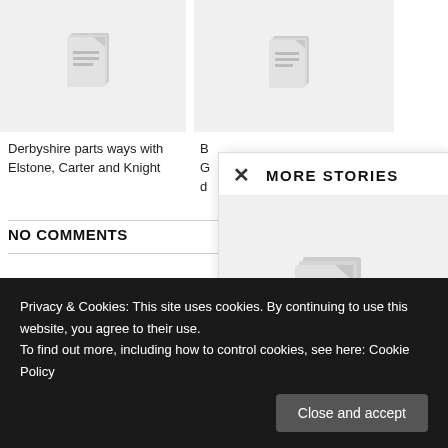[Figure (screenshot): Article card with document placeholder image]
Derbyshire parts ways with Elstone, Carter and Knight
[Figure (screenshot): Second article card with document placeholder image, partially visible]
B G d
NO COMMENTS
Leave a Reply
Enter your comment
[Figure (screenshot): More Stories modal overlay with close button, title MORE STORIES, and a large document placeholder image]
Privacy & Cookies: This site uses cookies. By continuing to use this website, you agree to their use.
To find out more, including how to control cookies, see here: Cookie Policy
Close and accept